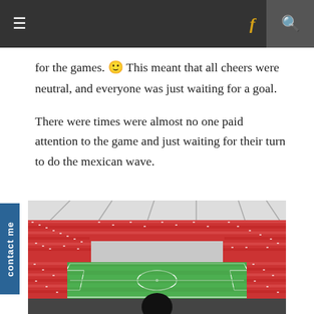Navigation bar with hamburger menu, social icons (f, twitter, instagram), and search
for the games. 🙂 This meant that all cheers were neutral, and everyone was just waiting for a goal.
There were times were almost no one paid attention to the game and just waiting for their turn to do the mexican wave.
[Figure (photo): A wide-angle view of a packed football stadium from the stands, showing a green pitch with players, surrounded by a full crowd of spectators in red and white. A silhouetted figure is visible in the foreground.]